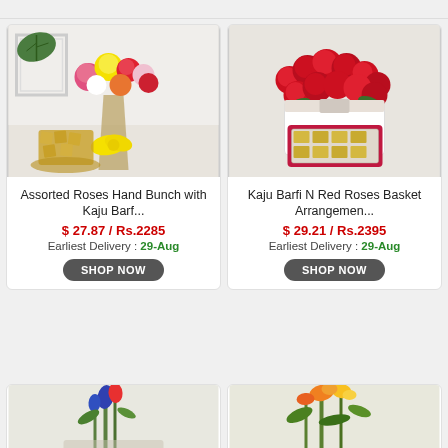[Figure (photo): Product card: Assorted roses hand bunch with kaju barfi - colorful roses bouquet with yellow ribbon and kaju barfi sweets]
Assorted Roses Hand Bunch with Kaju Barf...
$ 27.87 / Rs.2285
Earliest Delivery : 29-Aug
[Figure (photo): Product card: Kaju Barfi N Red Roses Basket Arrangement - large basket of red roses with kaju barfi sweets in red box]
Kaju Barfi N Red Roses Basket Arrangemen...
$ 29.21 / Rs.2395
Earliest Delivery : 29-Aug
[Figure (photo): Partial product card bottom - blue and red flowers arrangement]
[Figure (photo): Partial product card bottom - orange and yellow tropical flowers arrangement]